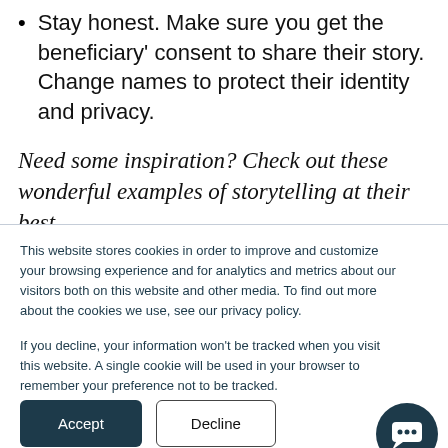Stay honest. Make sure you get the beneficiary' consent to share their story. Change names to protect their identity and privacy.
Need some inspiration? Check out these wonderful examples of storytelling at their best.
This website stores cookies in order to improve and customize your browsing experience and for analytics and metrics about our visitors both on this website and other media. To find out more about the cookies we use, see our privacy policy.

If you decline, your information won't be tracked when you visit this website. A single cookie will be used in your browser to remember your preference not to be tracked.
Accept
Decline